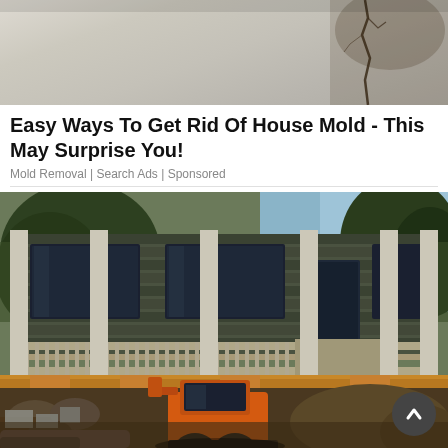[Figure (photo): Top portion of a photo showing a ceiling or wall surface with mold/cracks, light grey and beige tones]
Easy Ways To Get Rid Of House Mold - This May Surprise You!
Mold Removal | Search Ads | Sponsored
[Figure (photo): Construction photo showing a house elevated on steel beams/supports with an orange skid-steer loader/bobcat underneath amid dirt and rubble. Trees visible in background. A circular scroll-up button overlaid at bottom right.]
Cheap Home Foundation Repair Services in